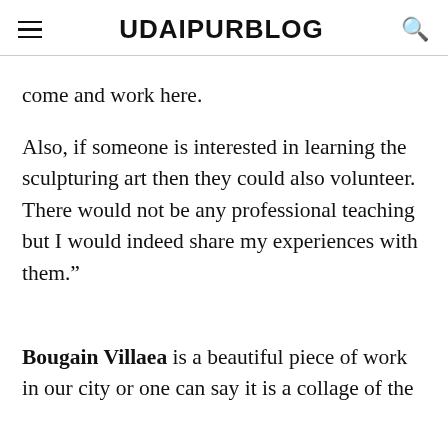UDAIPURBLOG
come and work here.
Also, if someone is interested in learning the sculpturing art then they could also volunteer. There would not be any professional teaching but I would indeed share my experiences with them.”
Bougain Villaea is a beautiful piece of work in our city or one can say it is a collage of the